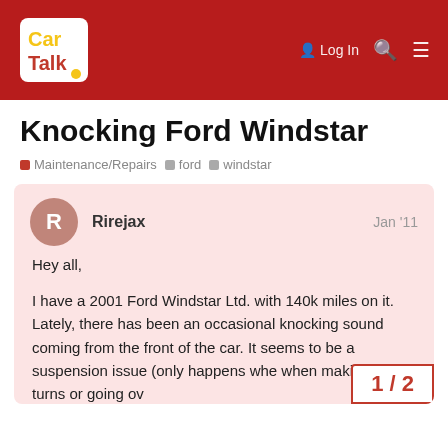Car Talk
Knocking Ford Windstar
Maintenance/Repairs   ford   windstar
Rirejax   Jan '11
Hey all,
I have a 2001 Ford Windstar Ltd. with 140k miles on it. Lately, there has been an occasional knocking sound coming from the front of the car. It seems to be a suspension issue (only happens whe when making sharp turns or going ov
1 / 2